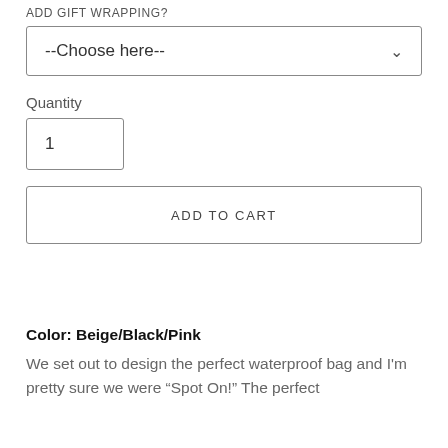ADD GIFT WRAPPING?
--Choose here--
Quantity
1
ADD TO CART
Color: Beige/Black/Pink
We set out to design the perfect waterproof bag and I'm pretty sure we were “Spot On!” The perfect